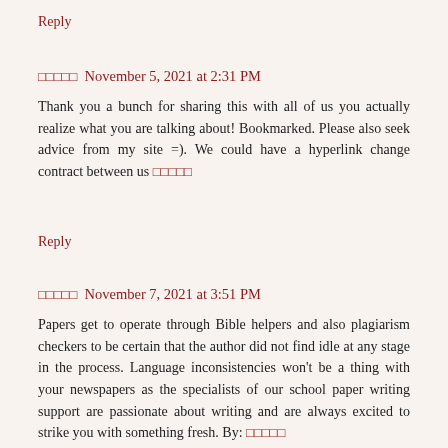Reply
🀄🀄🀄🀄🀄  November 5, 2021 at 2:31 PM
Thank you a bunch for sharing this with all of us you actually realize what you are talking about! Bookmarked. Please also seek advice from my site =). We could have a hyperlink change contract between us 🀄🀄🀄🀄🀄
Reply
🀄🀄🀄🀄🀄  November 7, 2021 at 3:51 PM
Papers get to operate through Bible helpers and also plagiarism checkers to be certain that the author did not find idle at any stage in the process. Language inconsistencies won't be a thing with your newspapers as the specialists of our school paper writing support are passionate about writing and are always excited to strike you with something fresh. By: 🀄🀄🀄🀄🀄